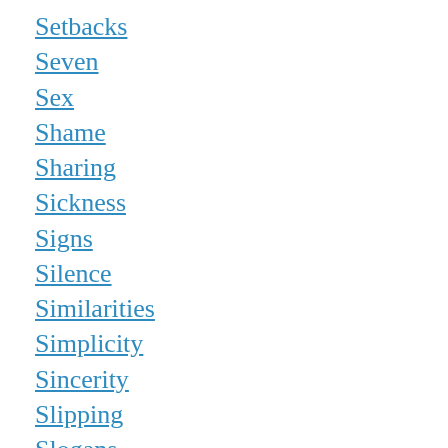Setbacks
Seven
Sex
Shame
Sharing
Sickness
Signs
Silence
Similarities
Simplicity
Sincerity
Slipping
Slogans
Slow-Down
Smiling
Sober-Thinking